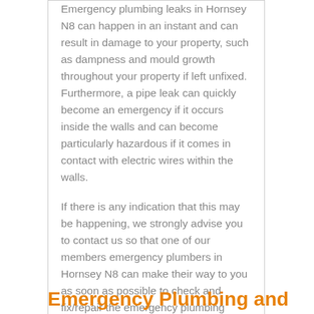Emergency plumbing leaks in Hornsey N8 can happen in an instant and can result in damage to your property, such as dampness and mould growth throughout your property if left unfixed. Furthermore, a pipe leak can quickly become an emergency if it occurs inside the walls and can become particularly hazardous if it comes in contact with electric wires within the walls.
If there is any indication that this may be happening, we strongly advise you to contact us so that one of our members emergency plumbers in Hornsey N8 can make their way to you as soon as possible to check and fix/repair the emergency plumbing issue.
Emergency Plumbing and